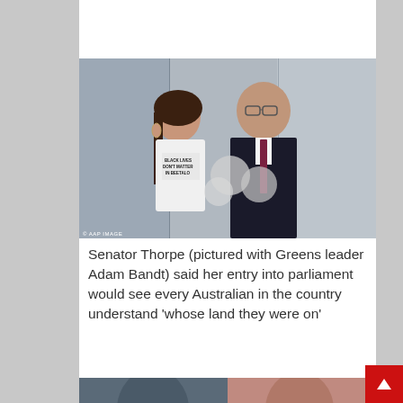[Figure (photo): Partial top image showing large text/logo graphic with text 'ck on the m' visible]
[Figure (photo): Photo of Senator Thorpe (woman in white t-shirt reading 'Black Lives Don't Matter in Beetalo') standing with Greens leader Adam Bandt (man in dark suit with tie). Photo credit: © AAP IMAGE]
Senator Thorpe (pictured with Greens leader Adam Bandt) said her entry into parliament would see every Australian in the country understand 'whose land they were on'
[Figure (photo): Partial bottom photo showing a person, partially cut off at bottom of page]